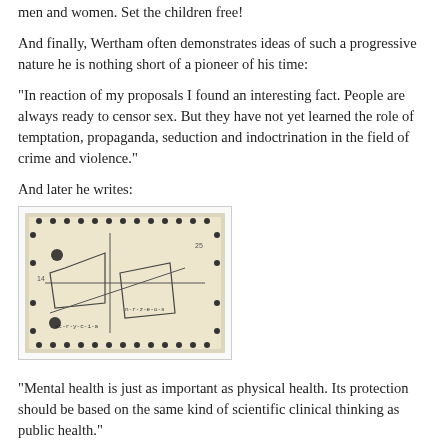men and women. Set the children free!
And finally, Wertham often demonstrates ideas of such a progressive nature he is nothing short of a pioneer of his time:
"In reaction of my proposals I found an interesting fact. People are always ready to censor sex. But they have not yet learned the role of temptation, propaganda, seduction and indoctrination in the field of crime and violence."
And later he writes:
[Figure (photo): A photograph of a hand-drawn diagram or map on aged paper, mounted in a frame with holes along the border. The drawing shows geometric shapes and lines with some handwritten annotations.]
"Mental health is just as important as physical health. Its protection should be based on the same kind of scientific clinical thinking as public health."